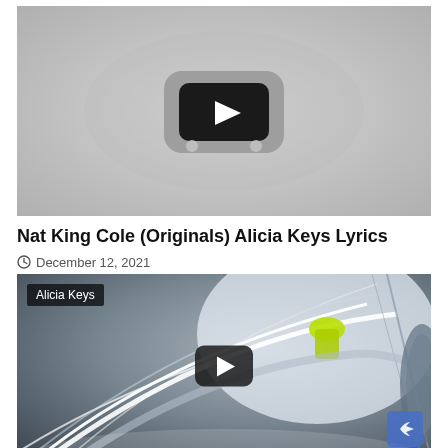[Figure (screenshot): YouTube video placeholder thumbnail — gray background with YouTube logo icon (dark rounded rectangle with white play triangle) and two small dots below]
Nat King Cole (Originals) Alicia Keys Lyrics
December 12, 2021
[Figure (screenshot): YouTube video thumbnail showing a futuristic sci-fi interior with glowing white curved neon light arcs, a figure in yellow/green clothing, bright white light streaks — with 'Alicia Keys' tag overlay, a play button, and a share icon in the bottom right corner]